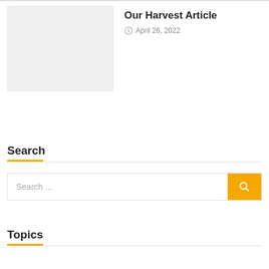[Figure (photo): Gray placeholder image box for article thumbnail]
Our Harvest Article
April 26, 2022
Search
Search ...
Topics